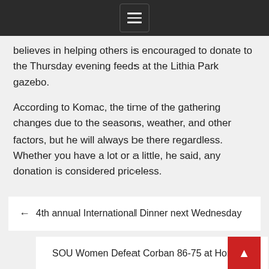[hamburger menu icon]
believes in helping others is encouraged to donate to the Thursday evening feeds at the Lithia Park gazebo.
According to Komac, the time of the gathering changes due to the seasons, weather, and other factors, but he will always be there regardless. Whether you have a lot or a little, he said, any donation is considered priceless.
← 4th annual International Dinner next Wednesday
SOU Women Defeat Corban 86-75 at Home →
Related Posts